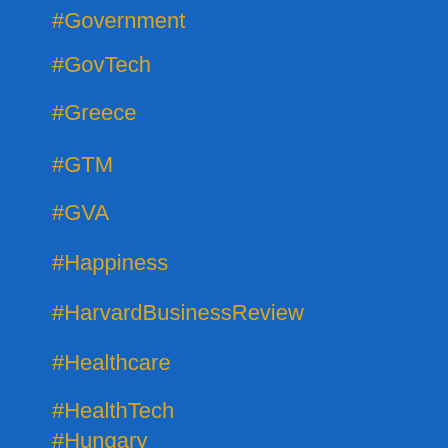#Government
#GovTech
#Greece
#GTM
#GVA
#Happiness
#HarvardBusinessReview
#Healthcare
#HealthTech
#Hungary